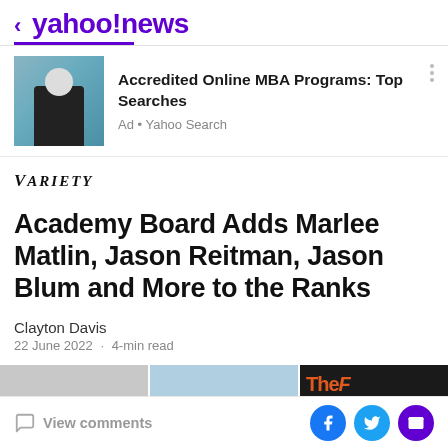< yahoo!news
[Figure (photo): Advertisement image showing a person sitting on a blue couch]
Accredited Online MBA Programs: Top Searches
Ad • Yahoo Search
[Figure (logo): Variety magazine logo in italic serif font]
Academy Board Adds Marlee Matlin, Jason Reitman, Jason Blum and More to the Ranks
Clayton Davis
22 June 2022 · 4-min read
[Figure (photo): Three images strip showing people/poster thumbnails]
View comments